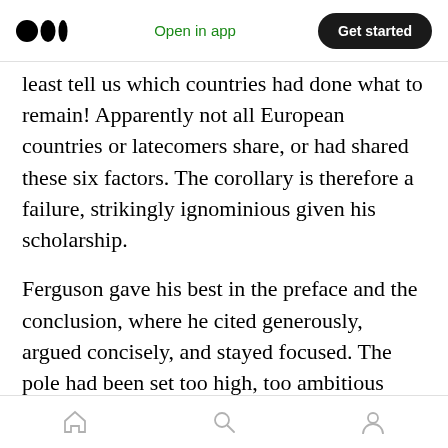Medium logo | Open in app | Get started
least tell us which countries had done what to remain! Apparently not all European countries or latecomers share, or had shared these six factors. The corollary is therefore a failure, strikingly ignominious given his scholarship.
Ferguson gave his best in the preface and the conclusion, where he cited generously, argued concisely, and stayed focused. The pole had been set too high, too ambitious that, once he tipped over, the pole fell down and bounced up in a periodic motion pretty similar to how he dabbled his main arguments. He either did not have
Home | Search | Profile